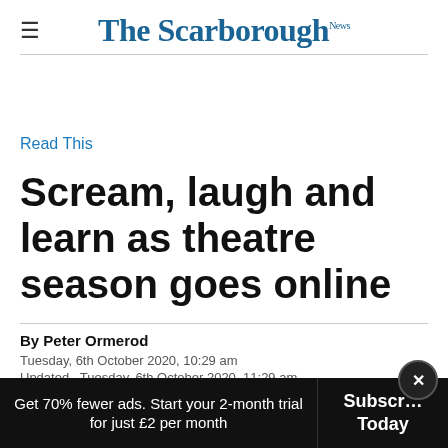The Scarborough News
Read This
Scream, laugh and learn as theatre season goes online
By Peter Ormerod
Tuesday, 6th October 2020, 10:29 am
Updated  Tuesday, 6th October 2020, 11:29 am
Get 70% fewer ads. Start your 2-month trial for just £2 per month
Subscribe Today